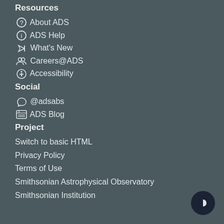Resources
About ADS
ADS Help
What's New
Careers@ADS
Accessibility
Social
@adsabs
ADS Blog
Project
Switch to basic HTML
Privacy Policy
Terms of Use
Smithsonian Astrophysical Observatory
Smithsonian Institution